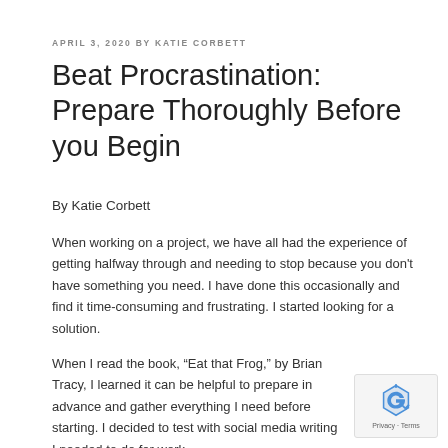APRIL 3, 2020 BY KATIE CORBETT
Beat Procrastination: Prepare Thoroughly Before you Begin
By Katie Corbett
When working on a project, we have all had the experience of getting halfway through and needing to stop because you don't have something you need. I have done this occasionally and find it time-consuming and frustrating. I started looking for a solution.
When I read the book, “Eat that Frog,” by Brian Tracy, I learned it can be helpful to prepare in advance and gather everything I need before starting. I decided to test with social media writing I needed to do for work.